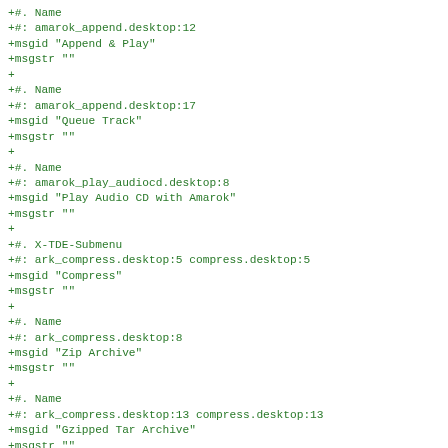+#. Name
+#: amarok_append.desktop:12
+msgid "Append & Play"
+msgstr ""
+
+#. Name
+#: amarok_append.desktop:17
+msgid "Queue Track"
+msgstr ""
+
+#. Name
+#: amarok_play_audiocd.desktop:8
+msgid "Play Audio CD with Amarok"
+msgstr ""
+
+#. X-TDE-Submenu
+#: ark_compress.desktop:5 compress.desktop:5
+msgid "Compress"
+msgstr ""
+
+#. Name
+#: ark_compress.desktop:8
+msgid "Zip Archive"
+msgstr ""
+
+#. Name
+#: ark_compress.desktop:13 compress.desktop:13
+msgid "Gzipped Tar Archive"
+msgstr ""
+